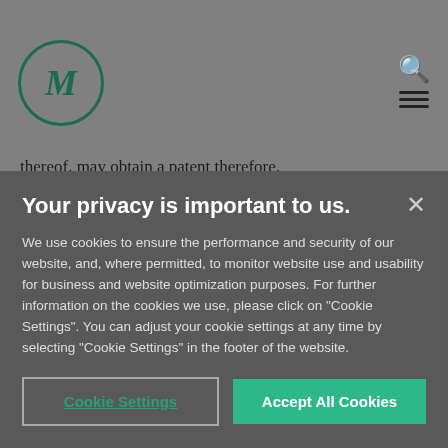[Figure (logo): Circular logo with stylized M letter in dark green, on grey background]
thereof, may obtain a patent therefore.
The bill provides express exceptions, including:
A mathematical formula, apart from useful
Your privacy is important to us.
We use cookies to ensure the performance and security of our website, and, where permitted, to monitor website use and usability for business and website optimization purposes. For further information on the cookies we use, please click on "Cookie Settings". You can adjust your cookie settings at any time by selecting "Cookie Settings" in the footer of the website.
Cookie Settings
Accept All Cookies